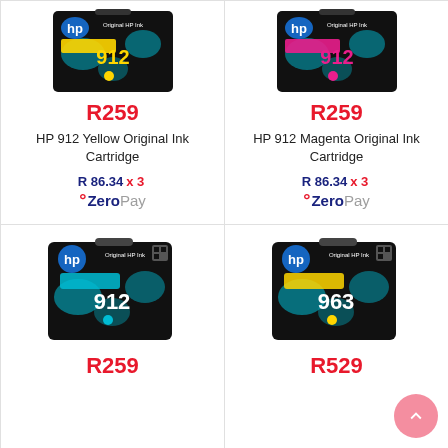[Figure (photo): HP 912 Yellow Original Ink Cartridge product image]
R259
HP 912 Yellow Original Ink Cartridge
R 86.34 x 3
ZeroPay
[Figure (photo): HP 912 Magenta Original Ink Cartridge product image]
R259
HP 912 Magenta Original Ink Cartridge
R 86.34 x 3
ZeroPay
[Figure (photo): HP 912 Cyan Original Ink Cartridge product image]
R259
[Figure (photo): HP 963 Yellow Original Ink Cartridge product image]
R529